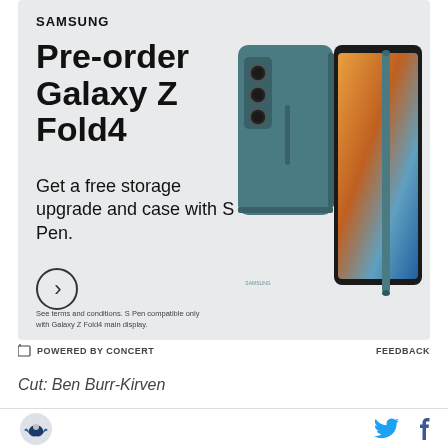[Figure (illustration): Samsung advertisement for Galaxy Z Fold4 pre-order. Teal/slate colored foldable phone with S Pen, showing the back and unfolded screen. Text: SAMSUNG, Pre-order Galaxy Z Fold4, Get a free storage upgrade and case with S Pen. Arrow button and footnote about terms and S Pen compatibility.]
POWERED BY CONCERT    FEEDBACK
Cut: Ben Burr-Kirven
CB: Shaquill Griffin, Tre Flowers, Quinton Dunbar,